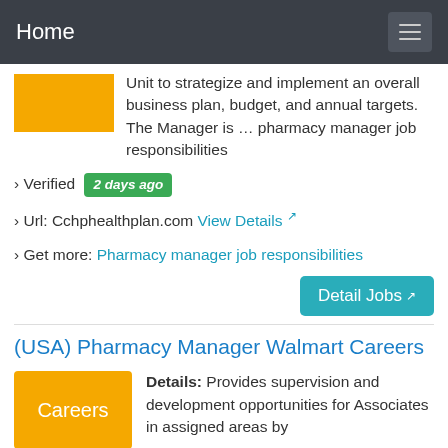Home
Unit to strategize and implement an overall business plan, budget, and annual targets. The Manager is … pharmacy manager job responsibilities
› Verified  2 days ago
› Url: Cchphealthplan.com  View Details
› Get more: Pharmacy manager job responsibilities
(USA) Pharmacy Manager Walmart Careers
Details: Provides supervision and development opportunities for Associates in assigned areas by